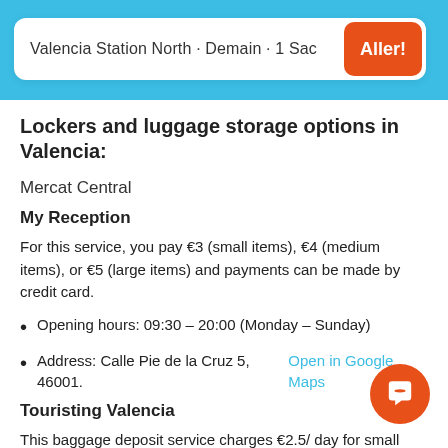Valencia Station North · Demain · 1 Sac
Lockers and luggage storage options in Valencia:
Mercat Central
My Reception
For this service, you pay €3 (small items), €4 (medium items), or €5 (large items) and payments can be made by credit card.
Opening hours: 09:30 – 20:00 (Monday – Sunday)
Address: Calle Pie de la Cruz 5, 46001. Open in Google Maps
Touristing Valencia
This baggage deposit service charges €2.5/ day for small and average-sized bags or €3.5 for large trolleys and suitcases.
Opening hours:09:30 – 13:20 and 15:20 – 19:20 (Monday...